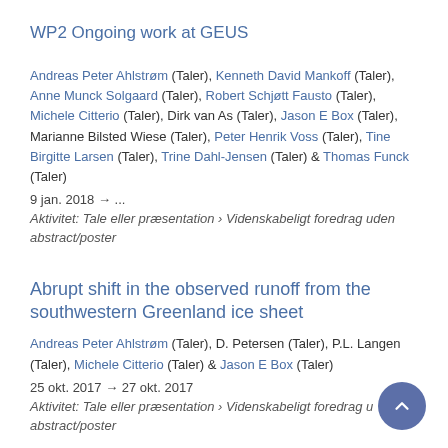WP2 Ongoing work at GEUS
Andreas Peter Ahlstrøm (Taler), Kenneth David Mankoff (Taler), Anne Munck Solgaard (Taler), Robert Schjøtt Fausto (Taler), Michele Citterio (Taler), Dirk van As (Taler), Jason E Box (Taler), Marianne Bilsted Wiese (Taler), Peter Henrik Voss (Taler), Tine Birgitte Larsen (Taler), Trine Dahl-Jensen (Taler) & Thomas Funck (Taler)
9 jan. 2018 → ...
Aktivitet: Tale eller præsentation › Videnskabeligt foredrag uden abstract/poster
Abrupt shift in the observed runoff from the southwestern Greenland ice sheet
Andreas Peter Ahlstrøm (Taler), D. Petersen (Taler), P.L. Langen (Taler), Michele Citterio (Taler) & Jason E Box (Taler)
25 okt. 2017 → 27 okt. 2017
Aktivitet: Tale eller præsentation › Videnskabeligt foredrag uden abstract/poster